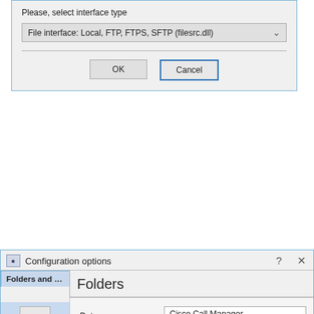[Figure (screenshot): Windows dialog box: 'Please, select interface type' with a dropdown showing 'File interface: Local, FTP, FTPS, SFTP (filesrc.dll)' and OK/Cancel buttons]
[Figure (screenshot): Windows Configuration options dialog with 'Folders and fi...' tab selected, showing Folders panel with 'Data source name' field containing 'Cisco Call Manager', a Folders text label, and an empty white list box. Left sidebar shows Folders (active), Read options, and Schedule icons.]